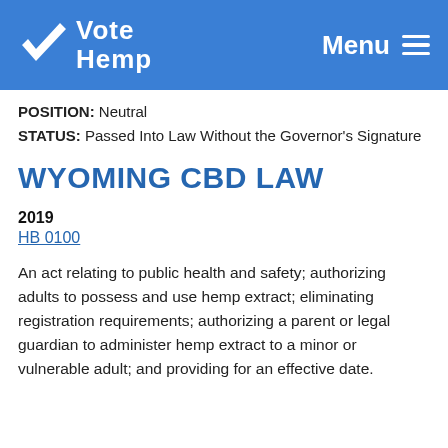Vote Hemp | Menu
POSITION: Neutral
STATUS: Passed Into Law Without the Governor's Signature
WYOMING CBD LAW
2019
HB 0100
An act relating to public health and safety; authorizing adults to possess and use hemp extract; eliminating registration requirements; authorizing a parent or legal guardian to administer hemp extract to a minor or vulnerable adult; and providing for an effective date.